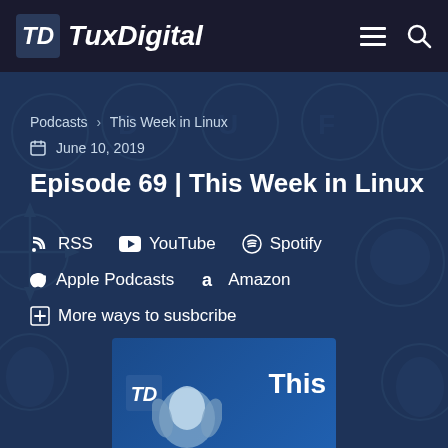TuxDigital
Podcasts > This Week in Linux
June 10, 2019
Episode 69 | This Week in Linux
RSS
YouTube
Spotify
Apple Podcasts
Amazon
More ways to susbcribe
[Figure (logo): TuxDigital thumbnail with logo and 'This' text visible]